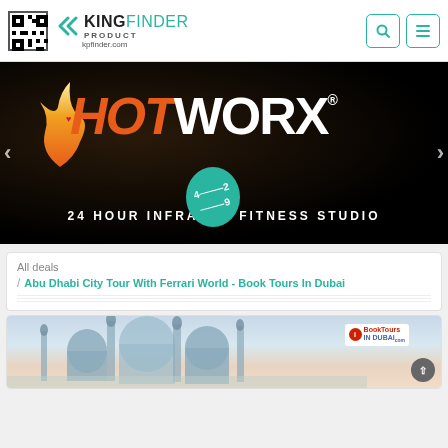[Figure (logo): King Product Finder logo with QR code, teal arrows, KING text in dark and FINDER in teal, kpfinder.com URL]
[Figure (photo): HOTWORX 24 Hour Infrared Fitness Studio banner image on dark background with orange HOT and white WORX text, with teal oval badge showing '4229']
All deals
/ Abu Dhabi City Tour With Ferrari World - Book Tours In Dubai
[Figure (photo): Abu Dhabi mosque photo with BookTours In Dubai logo badge in top right corner]